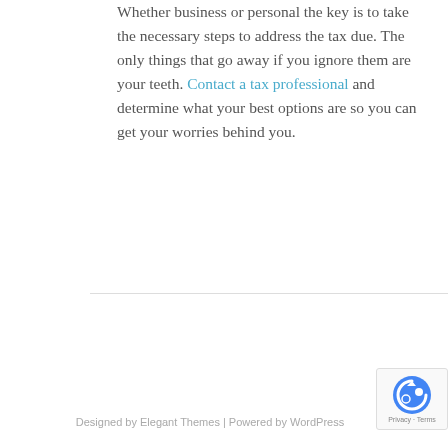Whether business or personal the key is to take the necessary steps to address the tax due. The only things that go away if you ignore them are your teeth. Contact a tax professional and determine what your best options are so you can get your worries behind you.
Designed by Elegant Themes | Powered by WordPress